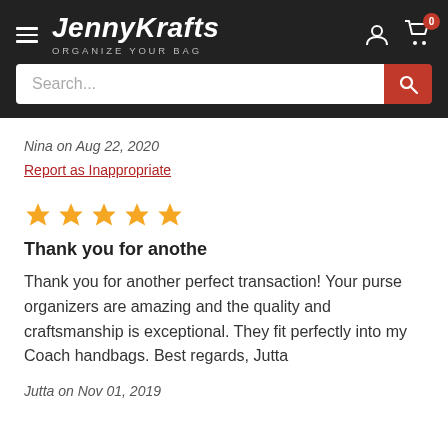JennyKrafts ORGANIZE YOUR BAG
Nina on Aug 22, 2020
Report as Inappropriate
[Figure (other): 5 gold star rating icons]
Thank you for anothe
Thank you for another perfect transaction! Your purse organizers are amazing and the quality and craftsmanship is exceptional. They fit perfectly into my Coach handbags. Best regards, Jutta
Jutta on Nov 01, 2019